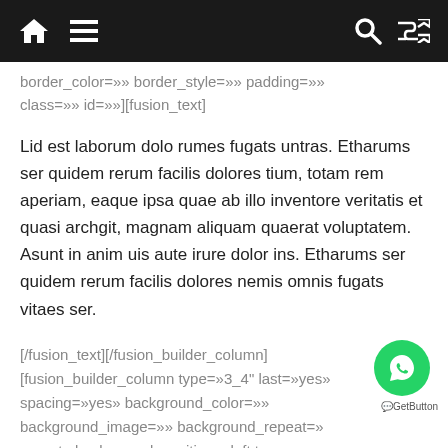[home icon] [menu icon] [search icon] [shuffle icon]
border_color=»» border_style=»» padding=»» class=»» id=»»][fusion_text]
Lid est laborum dolo rumes fugats untras. Etharums ser quidem rerum facilis dolores tium, totam rem aperiam, eaque ipsa quae ab illo inventore veritatis et quasi archgit, magnam aliquam quaerat voluptatem. Asunt in anim uis aute irure dolor ins. Etharums ser quidem rerum facilis dolores nemis omnis fugats vitaes ser.
[/fusion_text][/fusion_builder_column] [fusion_builder_column type=»3_4" last=»yes» spacing=»yes» background_color=»» background_image=»» background_repeat=» repeat» background_position=»left top» border_size=» 0px» border_color=